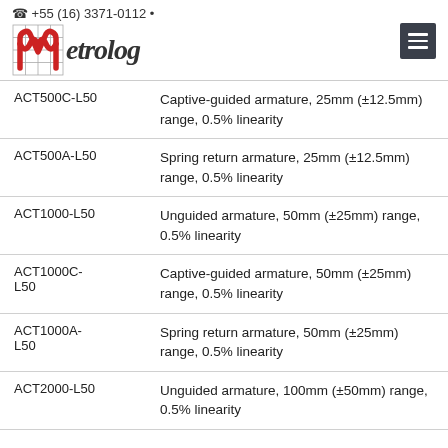+55 (16) 3371-0112 • Metrolog
| Model | Description |
| --- | --- |
| ACT500C-L50 | Captive-guided armature, 25mm (±12.5mm) range, 0.5% linearity |
| ACT500A-L50 | Spring return armature, 25mm (±12.5mm) range, 0.5% linearity |
| ACT1000-L50 | Unguided armature, 50mm (±25mm) range, 0.5% linearity |
| ACT1000C-L50 | Captive-guided armature, 50mm (±25mm) range, 0.5% linearity |
| ACT1000A-L50 | Spring return armature, 50mm (±25mm) range, 0.5% linearity |
| ACT2000-L50 | Unguided armature, 100mm (±50mm) range, 0.5% linearity |